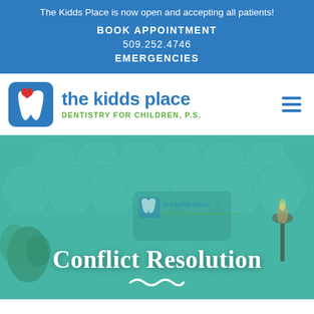The Kidds Place is now open and accepting all patients!
BOOK APPOINTMENT
509.252.4746
EMERGENCIES
[Figure (logo): The Kidds Place – Dentistry for Children, P.S. logo with a blue tooth and red heart icon]
Conflict Resolution
[Figure (photo): Interior photo of The Kidds Place dental office showing hexagonal tile wall and the practice logo sign with plants and a candle, overlaid with teal/green tint]